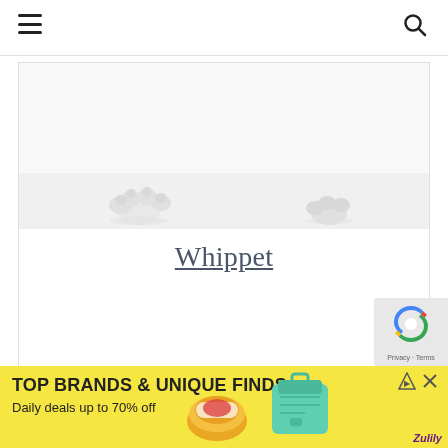[Figure (photo): Dog paws on white background, bottom portion of a dog photo showing white paws]
Whippet
[Figure (other): Advertisement banner: TOP BRANDS & UNIQUE FINDS - Daily deals up to 70% off - Zulily]